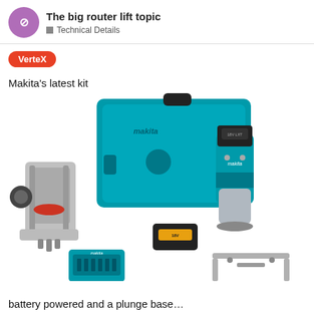The big router lift topic — Technical Details
VerteX
Makita's latest kit
[Figure (photo): Makita cordless router kit showing plunge base attachment, fixed base router with battery, Makli case, battery charger, battery pack, and edge guide accessory]
battery powered and a plunge base…